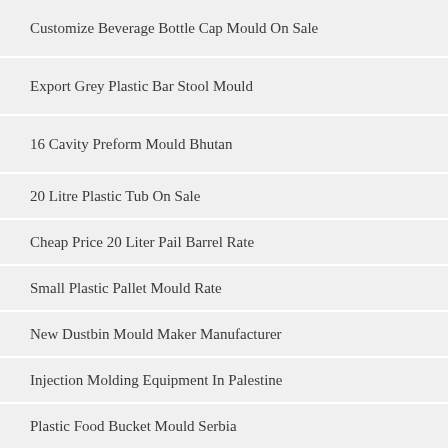Customize Beverage Bottle Cap Mould On Sale
Export Grey Plastic Bar Stool Mould
16 Cavity Preform Mould Bhutan
20 Litre Plastic Tub On Sale
Cheap Price 20 Liter Pail Barrel Rate
Small Plastic Pallet Mould Rate
New Dustbin Mould Maker Manufacturer
Injection Molding Equipment In Palestine
Plastic Food Bucket Mould Serbia
Best Storage Bucket With Lid Rate